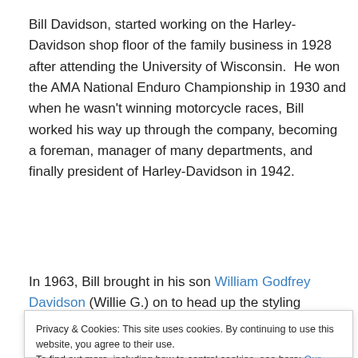Bill Davidson, started working on the Harley-Davidson shop floor of the family business in 1928 after attending the University of Wisconsin.  He won the AMA National Enduro Championship in 1930 and when he wasn't winning motorcycle races, Bill worked his way up through the company, becoming a foreman, manager of many departments, and finally president of Harley-Davidson in 1942.
In 1963, Bill brought in his son William Godfrey Davidson (Willie G.) on to head up the styling department of the
In 1965 Harley-Davidson went public listing the family...
Privacy & Cookies: This site uses cookies. By continuing to use this website, you agree to their use.
To find out more, including how to control cookies, see here: Our Cookie Policy